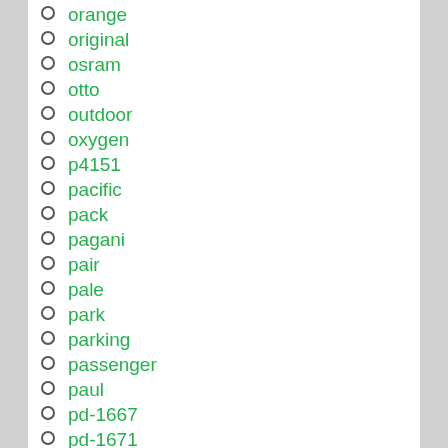orange
original
osram
otto
outdoor
oxygen
p4151
pacific
pack
pagani
pair
pale
park
parking
passenger
paul
pd-1667
pd-1671
perforated